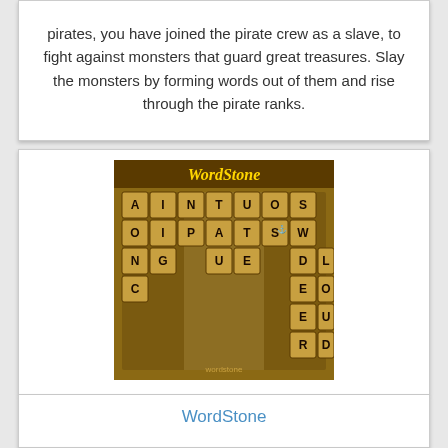pirates, you have joined the pirate crew as a slave, to fight against monsters that guard great treasures. Slay the monsters by forming words out of them and rise through the pirate ranks.
[Figure (screenshot): WordStone game app screenshot showing a letter tile grid on a golden/brown background with the WordStone logo at top]
WordStone
WordStone is a unique and original word game where you must grab, swap and place tiles to form words before the grid crashes down on you.
[Figure (screenshot): Another game app screenshot showing a purple-themed game board with letter tiles and numbers]